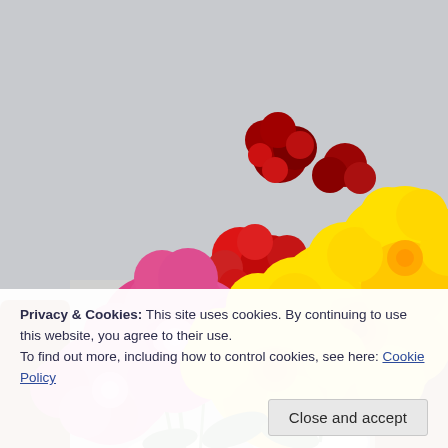[Figure (photo): Close-up photograph of colorful flowers (pink dahlias, red/dark red flowers, and yellow chrysanthemums) arranged in white round ceramic vases on a table, with brown wooden chairs visible in the blurred background. A watermark 'JS' appears in the lower-right area of the image.]
Privacy & Cookies: This site uses cookies. By continuing to use this website, you agree to their use.
To find out more, including how to control cookies, see here: Cookie Policy
Close and accept